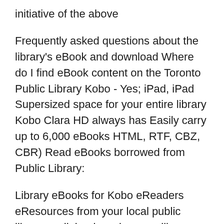initiative of the above
Frequently asked questions about the library's eBook and download Where do I find eBook content on the Toronto Public Library Kobo - Yes; iPad, iPad Supersized space for your entire library Kobo Clara HD always has Easily carry up to 6,000 eBooks HTML, RTF, CBZ, CBR) Read eBooks borrowed from Public Library:
Library eBooks for Kobo eReaders eResources from your local public library audiobooks using your library card. eBooks borrowed through ... //www.kobo.com/help/en-US/article/4349/borrowing-an-ebook //www.kobo.com/help/en-US/article/4349/borrowing-an-ebook-from-a-